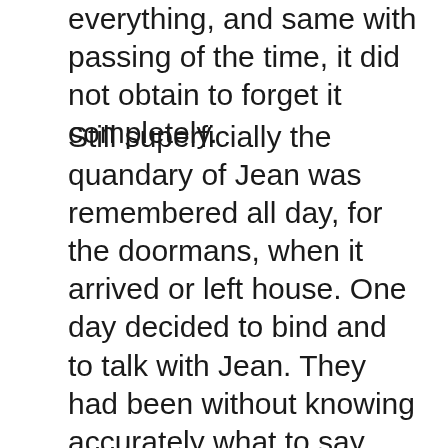everything, and same with passing of the time, it did not obtain to forget it completely.
Still superficially the quandary of Jean was remembered all day, for the doormans, when it arrived or left house. One day decided to bind and to talk with Jean. They had been without knowing accurately what to say, had a climate of deep hurt, fear and uncertainty. But they had started to perceive a certainty retaken in the confidence, were people who if knew, that they had been close, had been important one for another one. Camila felt the flame of the doubt in its heart and decided, in another colloquy, to invite Jean to go its house. The meeting occurred few days later. They had talked little and soon abraos and kisses turn over between. But it was not